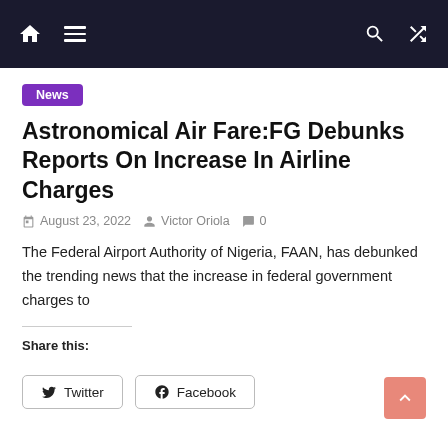Navigation bar with home, menu, search, and shuffle icons
News
Astronomical Air Fare:FG Debunks Reports On Increase In Airline Charges
August 23, 2022  Victor Oriola  0
The Federal Airport Authority of Nigeria, FAAN, has debunked the trending news that the increase in federal government charges to
Share this:
Twitter  Facebook